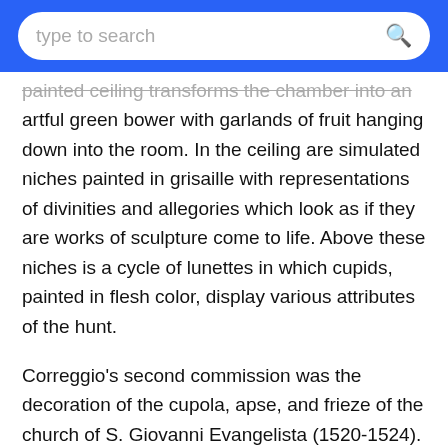type to search
painted ceiling transforms the chamber into an artful green bower with garlands of fruit hanging down into the room. In the ceiling are simulated niches painted in grisaille with representations of divinities and allegories which look as if they are works of sculpture come to life. Above these niches is a cycle of lunettes in which cupids, painted in flesh color, display various attributes of the hunt.
Correggio's second commission was the decoration of the cupola, apse, and frieze of the church of S. Giovanni Evangelista (1520-1524). Especially in the cupola painting he put to the test the lessons in figure drawing and architectural perspective which